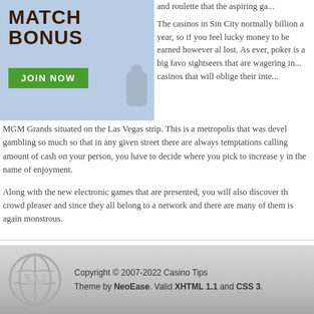[Figure (illustration): Casino advertisement banner with 'MATCH BONUS' text in bold dark letters on a blue background with animated characters, and a green 'JOIN NOW' button]
and roulette that the aspiring ga...

The casinos in Sin City normally billion a year, so if you feel lucky money to be earned however al lost. As ever, poker is a big favo sightseers that are wagering in... casinos that will oblige their inte...
MGM Grands situated on the Las Vegas strip. This is a metropolis that was devel gambling so much so that in any given street there are always temptations calling amount of cash on your person, you have to decide where you pick to increase y in the name of enjoyment.
Along with the new electronic games that are presented, you will also discover th crowd pleaser and since they all belong to a network and there are many of them is again monstrous.
Copyright © 2007-2022 Casino Tips
Theme by NeoEase. Valid XHTML 1.1 and CSS 3.